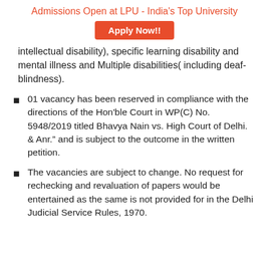Admissions Open at LPU - India's Top University
[Figure (other): Apply Now!! button (orange/red rounded rectangle)]
intellectual disability), specific learning disability and mental illness and Multiple disabilities( including deaf-blindness).
01 vacancy has been reserved in compliance with the directions of the Hon'ble Court in WP(C) No. 5948/2019 titled Bhavya Nain vs. High Court of Delhi. & Anr.” and is subject to the outcome in the written petition.
The vacancies are subject to change. No request for rechecking and revaluation of papers would be entertained as the same is not provided for in the Delhi Judicial Service Rules, 1970.